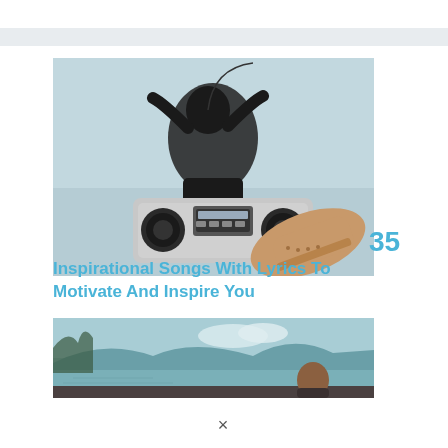[Figure (photo): Person lying back with a boombox/radio cassette player, wearing sneakers, against a light teal background]
35
Inspirational Songs With Lyrics To Motivate And Inspire You
[Figure (photo): Person looking at a scenic lake and mountains view with teal/green tones]
×